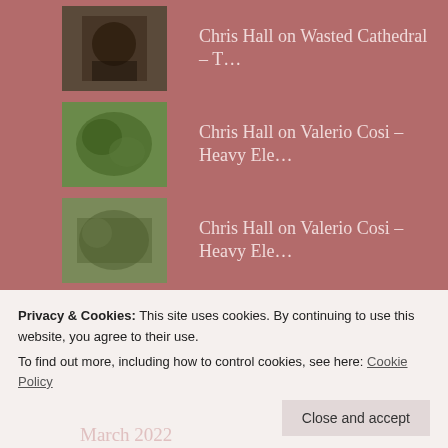Chris Hall on Wasted Cathedral – T…
Chris Hall on Valerio Cosi – Heavy Ele…
Chris Hall on Valerio Cosi – Heavy Ele…
DATALAND review roun… on Dead Sea Apes / Black Tempest…
174 :: All Thoughts… on Anna von Hausswolff – Al…
ARCHIVES
Privacy & Cookies: This site uses cookies. By continuing to use this website, you agree to their use.
To find out more, including how to control cookies, see here: Cookie Policy
Close and accept
March 2022